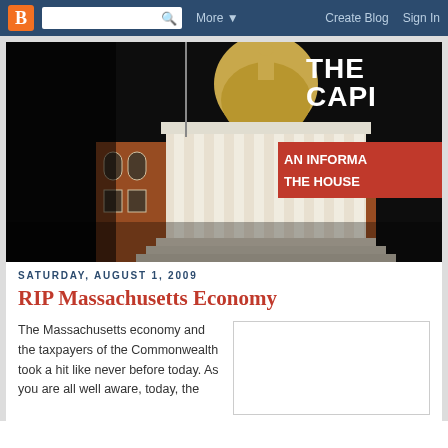Blogger navbar with logo, search, More, Create Blog, Sign In
[Figure (photo): Massachusetts State House at night, illuminated, with dome visible. Text overlay reads: THE CAPI... AN INFORMA... THE HOUSE...]
SATURDAY, AUGUST 1, 2009
RIP Massachusetts Economy
The Massachusetts economy and the taxpayers of the Commonwealth took a hit like never before today. As you are all well aware, today, the